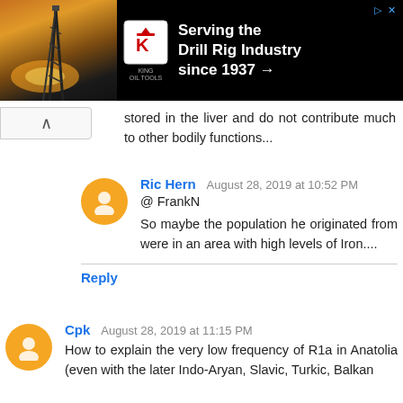[Figure (illustration): Advertisement banner for King Oil Tools: 'Serving the Drill Rig Industry since 1937 →' with black background, orange drill rig image, and King logo with red K.]
stored in the liver and do not contribute much to other bodily functions...
Ric Hern August 28, 2019 at 10:52 PM
@ FrankN

So maybe the population he originated from were in an area with high levels of Iron....
Reply
Cpk August 28, 2019 at 11:15 PM
How to explain the very low frequency of R1a in Anatolia (even with the later Indo-Aryan, Slavic, Turkic, Balkan